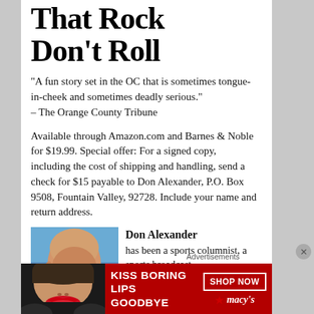That Rock Don't Roll
“A fun story set in the OC that is sometimes tongue-in-cheek and sometimes deadly serious.” – The Orange County Tribune
Available through Amazon.com and Barnes & Noble for $19.99. Special offer: For a signed copy, including the cost of shipping and handling, send a check for $15 payable to Don Alexander, P.O. Box 9508, Fountain Valley, 92728. Include your name and return address.
[Figure (photo): Headshot of Don Alexander, an older bald man with glasses, against a blue sky background.]
Don Alexander has been a sports columnist, a sports broadcast-
Advertisements
[Figure (infographic): Macy's advertisement: red background with woman's face showing red lips. Text: KISS BORING LIPS GOODBYE. SHOP NOW button and Macy's star logo.]